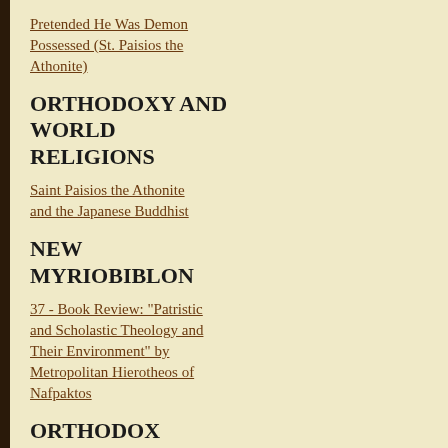Pretended He Was Demon Possessed (St. Paisios the Athonite)
ORTHODOXY AND WORLD RELIGIONS
Saint Paisios the Athonite and the Japanese Buddhist
NEW MYRIOBIBLON
37 - Book Review: "Patristic and Scholastic Theology and Their Environment" by Metropolitan Hierotheos of Nafpaktos
ORTHODOX YOUTH RESOURCES
Q &amp; A: My Young Adult Child Left the Church